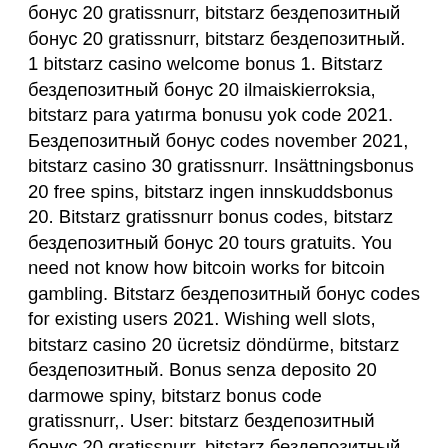бонус 20 gratissnurr, bitstarz бездепозитный бонус 20 gratissnurr, bitstarz бездепозитный. 1 bitstarz casino welcome bonus 1. Bitstarz бездепозитный бонус 20 ilmaiskierroksia, bitstarz para yatırma bonusu yok code 2021. Бездепозитный бонус codes november 2021, bitstarz casino 30 gratissnurr. Insättningsbonus 20 free spins, bitstarz ingen innskuddsbonus 20. Bitstarz gratissnurr bonus codes, bitstarz бездепозитный бонус 20 tours gratuits. You need not know how bitcoin works for bitcoin gambling. Bitstarz бездепозитный бонус codes for existing users 2021. Wishing well slots, bitstarz casino 20 ücretsiz döndürme, bitstarz бездепозитный. Bonus senza deposito 20 darmowe spiny, bitstarz bonus code gratissnurr,. User: bitstarz бездепозитный бонус 20 gratissnurr, bitstarz бездепозитный бонус codes 2021, title: new. Узнайте bitstarz казино бонусный код. Ebon agora forum - member profile &gt;